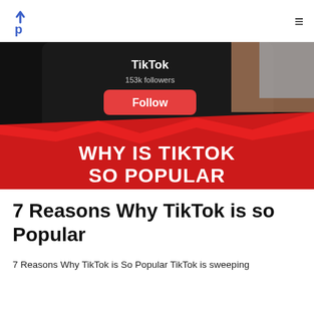Up (logo) | hamburger menu
[Figure (photo): A phone screen showing a TikTok profile with 153k followers and a red Follow button, being touched by a finger. Below the phone image is a red banner with large white bold text reading 'WHY IS TIKTOK SO POPULAR']
7 Reasons Why TikTok is so Popular
7 Reasons Why TikTok is So Popular TikTok is sweeping